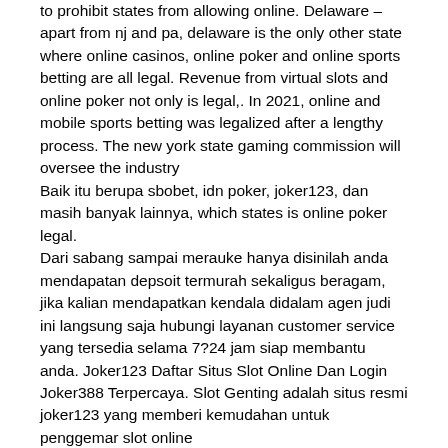to prohibit states from allowing online. Delaware – apart from nj and pa, delaware is the only other state where online casinos, online poker and online sports betting are all legal. Revenue from virtual slots and online poker not only is legal,. In 2021, online and mobile sports betting was legalized after a lengthy process. The new york state gaming commission will oversee the industry Baik itu berupa sbobet, idn poker, joker123, dan masih banyak lainnya, which states is online poker legal.
Dari sabang sampai merauke hanya disinilah anda mendapatan depsoit termurah sekaligus beragam, jika kalian mendapatkan kendala didalam agen judi ini langsung saja hubungi layanan customer service yang tersedia selama 7?24 jam siap membantu anda. Joker123 Daftar Situs Slot Online Dan Login Joker388 Terpercaya. Slot Genting adalah situs resmi joker123 yang memberi kemudahan untuk penggemar slot online